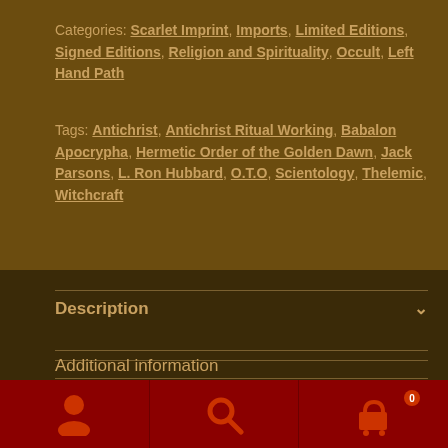Categories: Scarlet Imprint, Imports, Limited Editions, Signed Editions, Religion and Spirituality, Occult, Left Hand Path
Tags: Antichrist, Antichrist Ritual Working, Babalon Apocrypha, Hermetic Order of the Golden Dawn, Jack Parsons, L. Ron Hubbard, O.T.O, Scientology, Thelemic, Witchcraft
Description
Additional information